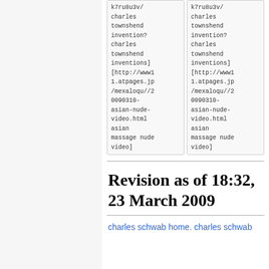k7ru8u3v/ charles townshend invention? charles townshend inventions] [http://www11.atpages.jp/mexaloqu//20090310-asian-nude-video.html asian massage nude video]
k7ru8u3v/ charles townshend invention? charles townshend inventions] [http://www11.atpages.jp/mexaloqu//20090310-asian-nude-video.html asian massage nude video]
Revision as of 18:32, 23 March 2009
charles schwab home. charles schwab